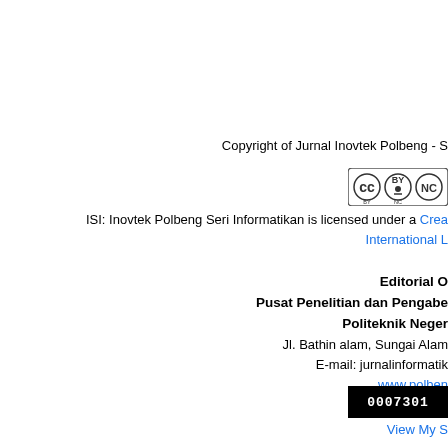Copyright of Jurnal Inovtek Polbeng - S
[Figure (logo): Creative Commons BY-NC license badge]
ISI: Inovtek Polbeng Seri Informatikan is licensed under a Creative Commons Attribution-NonCommercial 4.0 International License
Editorial Office
Pusat Penelitian dan Pengabdian Masyarakat
Politeknik Negeri Bengkalis
Jl. Bathin alam, Sungai Alam
E-mail: jurnalinformatik...
www.polben...
[Figure (other): Statcounter badge showing 0007301]
View My S